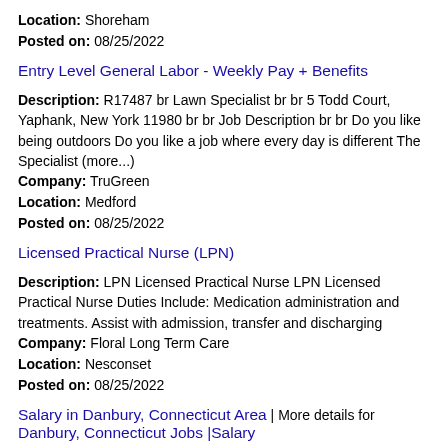Location: Shoreham
Posted on: 08/25/2022
Entry Level General Labor - Weekly Pay + Benefits
Description: R17487 br Lawn Specialist br br 5 Todd Court, Yaphank, New York 11980 br br Job Description br br Do you like being outdoors Do you like a job where every day is different The Specialist (more...)
Company: TruGreen
Location: Medford
Posted on: 08/25/2022
Licensed Practical Nurse (LPN)
Description: LPN Licensed Practical Nurse LPN Licensed Practical Nurse Duties Include: Medication administration and treatments. Assist with admission, transfer and discharging
Company: Floral Long Term Care
Location: Nesconset
Posted on: 08/25/2022
Salary in Danbury, Connecticut Area | More details for Danbury, Connecticut Jobs |Salary
Crew Member